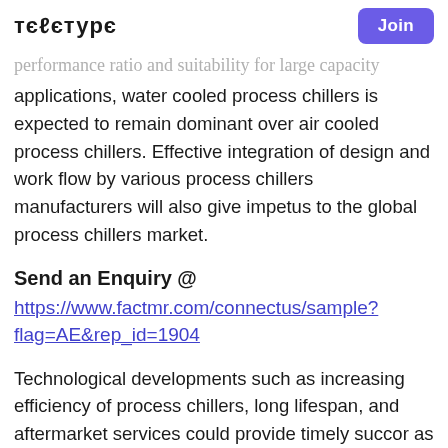teletype | Join
performance ratio and suitability for large capacity
applications, water cooled process chillers is expected to remain dominant over air cooled process chillers. Effective integration of design and work flow by various process chillers manufacturers will also give impetus to the global process chillers market.
Send an Enquiry @
https://www.factmr.com/connectus/sample?flag=AE&rep_id=1904
Technological developments such as increasing efficiency of process chillers, long lifespan, and aftermarket services could provide timely succor as a cost effective and time saving strategy thereby increasing profit margins for market players.